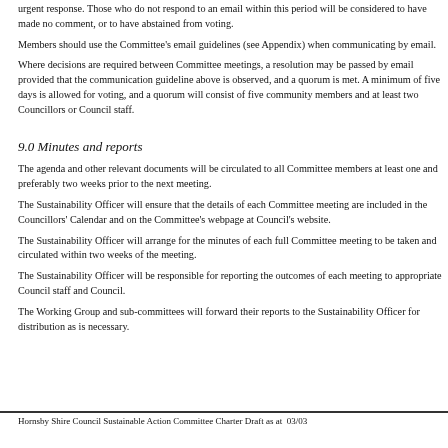urgent response. Those who do not respond to an email within this period will be considered to have made no comment, or to have abstained from voting.
Members should use the Committee's email guidelines (see Appendix) when communicating by email.
Where decisions are required between Committee meetings, a resolution may be passed by email provided that the communication guideline above is observed, and a quorum is met. A minimum of five days is allowed for voting, and a quorum will consist of five community members and at least two Councillors or Council staff.
9.0 Minutes and reports
The agenda and other relevant documents will be circulated to all Committee members at least one and preferably two weeks prior to the next meeting.
The Sustainability Officer will ensure that the details of each Committee meeting are included in the Councillors' Calendar and on the Committee's webpage at Council's website.
The Sustainability Officer will arrange for the minutes of each full Committee meeting to be taken and circulated within two weeks of the meeting.
The Sustainability Officer will be responsible for reporting the outcomes of each meeting to appropriate Council staff and Council.
The Working Group and sub-committees will forward their reports to the Sustainability Officer for distribution as is necessary.
Hornsby Shire Council Sustainable Action Committee Charter Draft as at  03/03